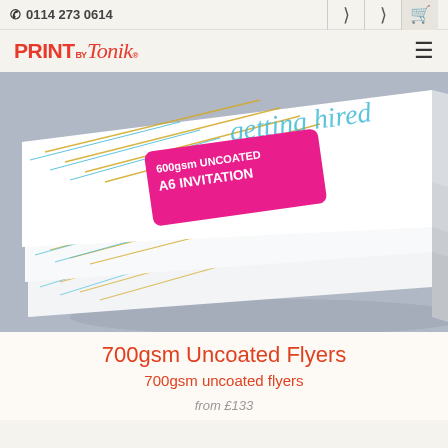0114 273 0614
[Figure (logo): Print by Tonik logo in red]
[Figure (photo): Stack of uncoated flyers/invitations with a pink label reading '600gsm UNCOATED A6 INVITATION' and gold and teal decorative lines on white cards]
700gsm Uncoated Flyers
700gsm uncoated flyers
from £133